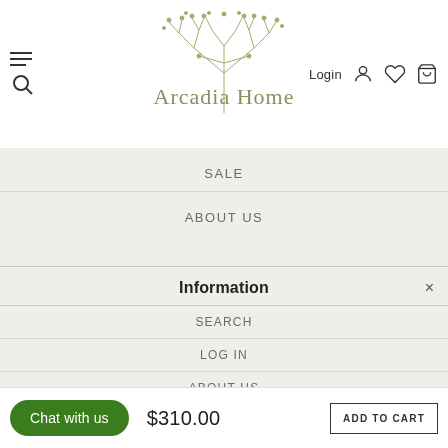[Figure (logo): Arcadia Home logo with decorative tree illustration and text 'Arcadia Home']
Login
SALE
ABOUT US
Information
SEARCH
LOG IN
ABOUT US
ARTISANS, MATERIALS, & PRODUCTION
SHIPPING AND RETURNS
Chat with us
$310.00
ADD TO CART